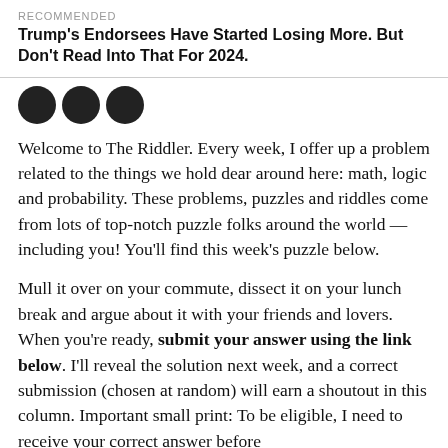RECOMMENDED
Trump's Endorsees Have Started Losing More. But Don't Read Into That For 2024.
[Figure (illustration): Three dark circular avatar icons representing social media profile pictures]
Welcome to The Riddler. Every week, I offer up a problem related to the things we hold dear around here: math, logic and probability. These problems, puzzles and riddles come from lots of top-notch puzzle folks around the world — including you! You'll find this week's puzzle below.
Mull it over on your commute, dissect it on your lunch break and argue about it with your friends and lovers. When you're ready, submit your answer using the link below. I'll reveal the solution next week, and a correct submission (chosen at random) will earn a shoutout in this column. Important small print: To be eligible, I need to receive your correct answer before